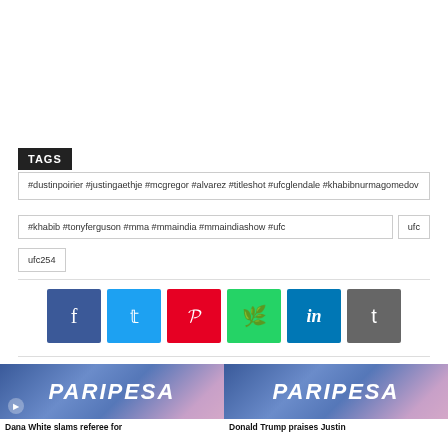TAGS
#dustinpoirier #justingaethje #mcgregor #alvarez #titleshot #ufcglendale #khabibnurmagomedov
#khabib #tonyferguson #mma #mmaindia #mmaindiashow #ufc
ufc
ufc254
[Figure (infographic): Social share buttons: Facebook (blue), Twitter (light blue), Pinterest (red), WhatsApp (green), LinkedIn (blue), Tumblr (grey)]
[Figure (photo): PARIPESA advertisement banner with a woman on the right side]
Dana White slams referee for
Donald Trump praises Justin